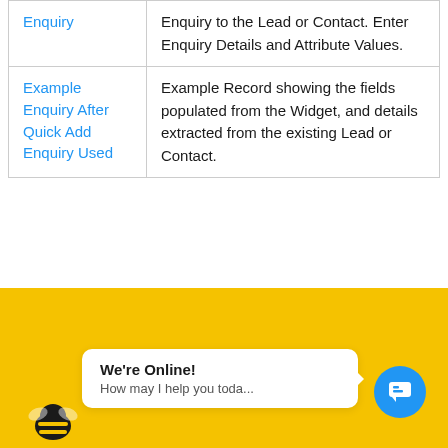|  |  |
| --- | --- |
| Enquiry | Enquiry to the Lead or Contact. Enter Enquiry Details and Attribute Values. |
| Example Enquiry After Quick Add Enquiry Used | Example Record showing the fields populated from the Widget, and details extracted from the existing Lead or Contact. |
[Figure (screenshot): Yellow banner with a white chat bubble saying 'We're Online! How may I help you toda...' and a blue circular chat icon with speech bubble icon on the right, plus a bee illustration on the left.]